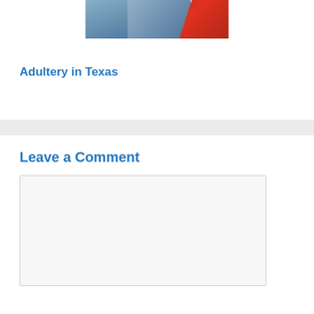[Figure (photo): Partial photo showing a person in a blue shirt and a red graphic element on the right side, cropped at top of page]
Adultery in Texas
Leave a Comment
[Comment text area — empty input box]